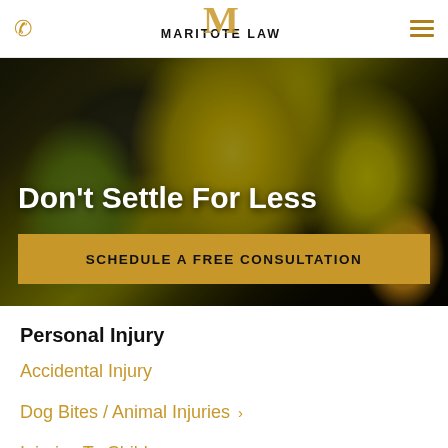MARITOTE LAW
[Figure (photo): Construction workers wearing yellow hard hats and safety vests in a worksite setting, used as hero background image]
Don't Settle For Less
SCHEDULE A FREE CONSULTATION
Personal Injury
Accidental Injury
Dog Bites / Animal Injuries
Injuries To Children